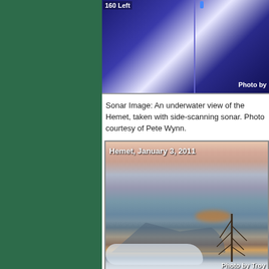[Figure (photo): Sonar image: underwater view taken with side-scanning sonar, showing '160 Left' label and 'Photo by' watermark. Dark blue tones with light reflection patterns.]
Sonar Image: An underwater view of the Hemet, taken with side-scanning sonar. Photo courtesy of Pete Wynn.
[Figure (photo): Photograph of Hemet, January 3, 2011. Aerial or elevated view showing mountains, clouds, trees, and orange/warm sunset glow. Photo by Troy.]